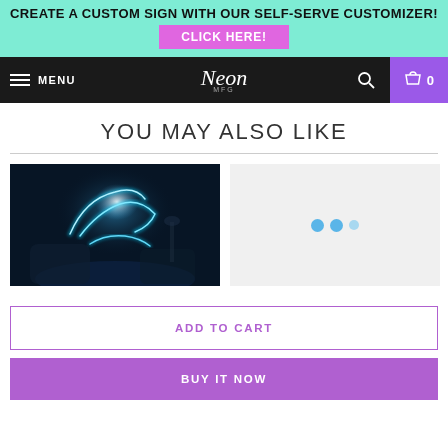CREATE A CUSTOM SIGN WITH OUR SELF-SERVE CUSTOMIZER!
CLICK HERE!
MENU | Neon MFG | 0
YOU MAY ALSO LIKE
[Figure (photo): Neon wave sign glowing cyan/white on a dark wall above pillows in a bedroom]
[Figure (photo): Loading placeholder with three blue dots on light gray background]
ADD TO CART
BUY IT NOW